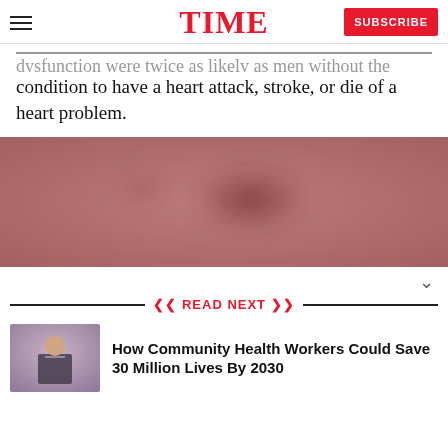TIME | SUBSCRIBE
dysfunction were twice as likely as men without the condition to have a heart attack, stroke, or die of a heart problem.
[Figure (photo): Blurred reddish-pink photographic image, likely an abstract or medical-related photograph with a dark smudge in the center.]
READ NEXT
[Figure (photo): Thumbnail image of a man in a suit speaking on stage with a graphic backdrop]
How Community Health Workers Could Save 30 Million Lives By 2030